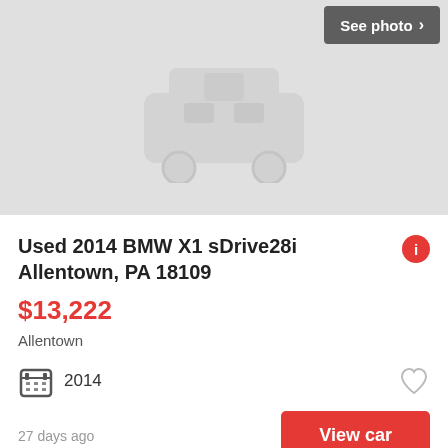[Figure (screenshot): Top gray placeholder area with a car outline icon, partially visible, with a 'See photo >' button in the top-right corner]
Used 2014 BMW X1 sDrive28i Allentown, PA 18109
$13,222
Allentown
2014
27 days ago
[Figure (screenshot): Bottom gray placeholder area with a car outline icon (front-facing), with a 'See photo >' button in the bottom-right corner]